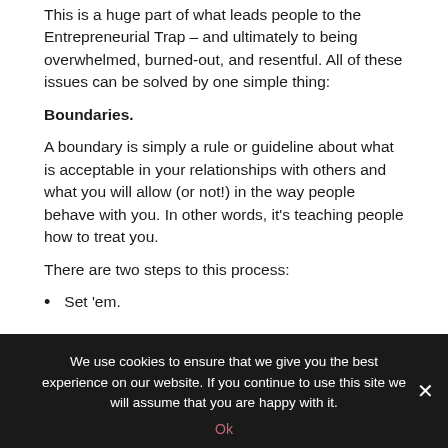This is a huge part of what leads people to the Entrepreneurial Trap – and ultimately to being overwhelmed, burned-out, and resentful. All of these issues can be solved by one simple thing:
Boundaries.
A boundary is simply a rule or guideline about what is acceptable in your relationships with others and what you will allow (or not!) in the way people behave with you. In other words, it's teaching people how to treat you.
There are two steps to this process:
Set 'em.
We use cookies to ensure that we give you the best experience on our website. If you continue to use this site we will assume that you are happy with it.
Ok